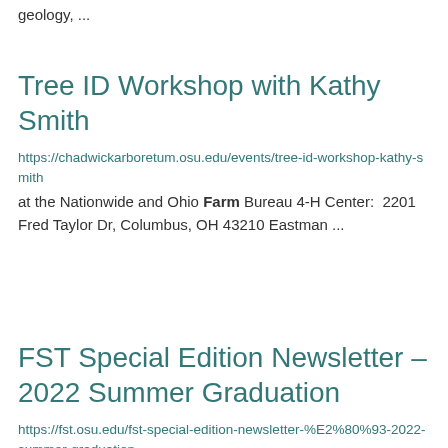geology, ...
Tree ID Workshop with Kathy Smith
https://chadwickarboretum.osu.edu/events/tree-id-workshop-kathy-smith
at the Nationwide and Ohio Farm Bureau 4-H Center:  2201 Fred Taylor Dr, Columbus, OH 43210 Eastman ...
FST Special Edition Newsletter – 2022 Summer Graduation
https://fst.osu.edu/fst-special-edition-newsletter-%E2%80%93-2022-summer-graduation
present my research on cannabinoids. It